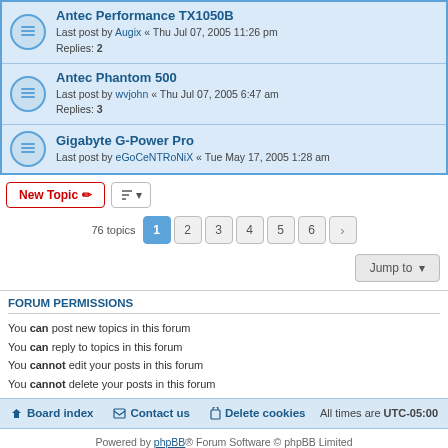Antec Performance TX1050B — Last post by Augix « Thu Jul 07, 2005 11:26 pm — Replies: 2
Antec Phantom 500 — Last post by wvjohn « Thu Jul 07, 2005 6:47 am — Replies: 3
Gigabyte G-Power Pro — Last post by eGoCeNTRoNiX « Tue May 17, 2005 1:28 am
New Topic | sort button | 76 topics | pages 1 2 3 4 5 6 >
Jump to
FORUM PERMISSIONS
You can post new topics in this forum
You can reply to topics in this forum
You cannot edit your posts in this forum
You cannot delete your posts in this forum
Board index | Contact us | Delete cookies | All times are UTC-05:00
Powered by phpBB® Forum Software © phpBB Limited
Privacy | Terms